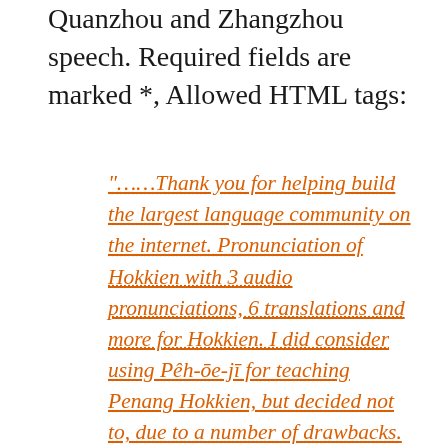Quanzhou and Zhangzhou speech. Required fields are marked *, Allowed HTML tags:
"……Thank you for helping build the largest language community on the internet. Pronunciation of Hokkien with 3 audio pronunciations, 6 translations and more for Hokkien. I did consider using Pêh-ōe-jī for teaching Penang Hokkien, but decided not to, due to a number of drawbacks. No downloads required and easy to learn English words.